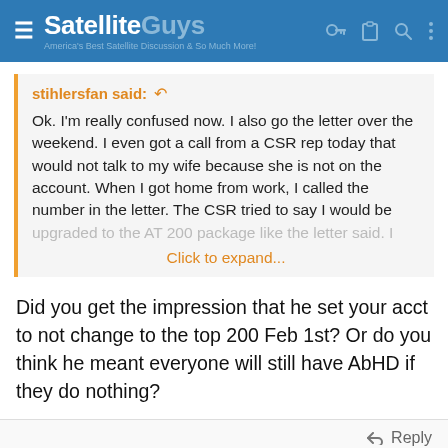SatelliteGuys — America's Best Satellite Discussion & So Much More!
stihlersfan said: ↺

Ok. I'm really confused now. I also go the letter over the weekend. I even got a call from a CSR rep today that would not talk to my wife because she is not on the account. When I got home from work, I called the number in the letter. The CSR tried to say I would be upgraded to the AT 200 package like the letter said. I
Click to expand...
Did you get the impression that he set your acct to not change to the top 200 Feb 1st? Or do you think he meant everyone will still have AbHD if they do nothing?
Reply